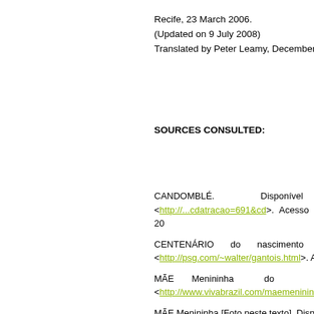Recife, 23 March 2006.
(Updated on 9 July 2008)
Translated by Peter Leamy, December 2016
SOURCES CONSULTED:
CANDOMBLÉ. Disponível em: <http://...cdatracao=691&cd>. Acesso em: 13 fev. 200
CENTENÁRIO do nascimento de Mãe... <http://psg.com/~walter/gantois.html>. Aces
MÃE Menininha do ... <http://www.vivabrazil.com/maemenininha:h
MÃE Menininha [Foto neste texto]. Disponi... 2017.
MÃE Menininha: a ialorixá que... <http://...100